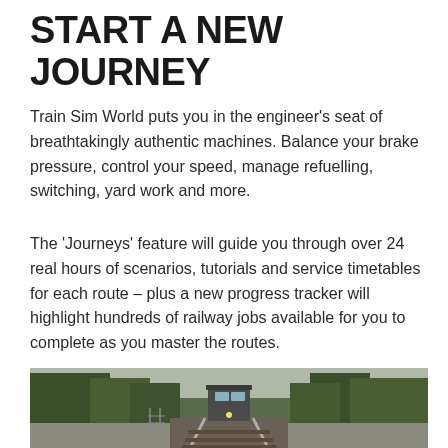START A NEW JOURNEY
Train Sim World puts you in the engineer's seat of breathtakingly authentic machines. Balance your brake pressure, control your speed, manage refuelling, switching, yard work and more.
The 'Journeys' feature will guide you through over 24 real hours of scenarios, tutorials and service timetables for each route – plus a new progress tracker will highlight hundreds of railway jobs available for you to complete as you master the routes.
[Figure (photo): A train approaching on railway tracks surrounded by trees, viewed from track level]